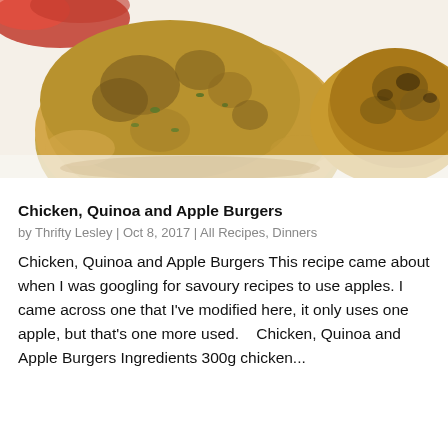[Figure (photo): Close-up photo of golden-brown chicken quinoa and apple burger patties on a white plate, with some red vegetables visible in the top left corner and a browned piece on the right]
Chicken, Quinoa and Apple Burgers
by Thrifty Lesley | Oct 8, 2017 | All Recipes, Dinners
Chicken, Quinoa and Apple Burgers This recipe came about when I was googling for savoury recipes to use apples. I came across one that I've modified here, it only uses one apple, but that's one more used.   Chicken, Quinoa and Apple Burgers Ingredients 300g chicken...